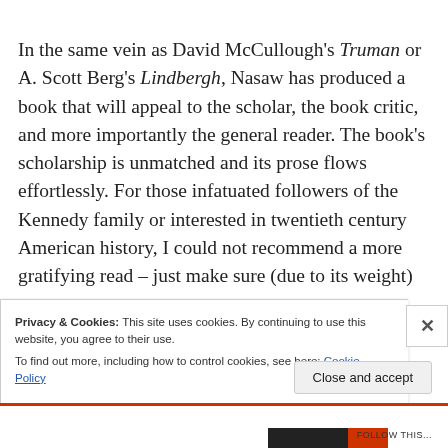In the same vein as David McCullough's Truman or A. Scott Berg's Lindbergh, Nasaw has produced a book that will appeal to the scholar, the book critic, and more importantly the general reader. The book's scholarship is unmatched and its prose flows effortlessly. For those infatuated followers of the Kennedy family or interested in twentieth century American history, I could not recommend a more gratifying read – just make sure (due to its weight)
Privacy & Cookies: This site uses cookies. By continuing to use this website, you agree to their use.
To find out more, including how to control cookies, see here: Cookie Policy
Close and accept